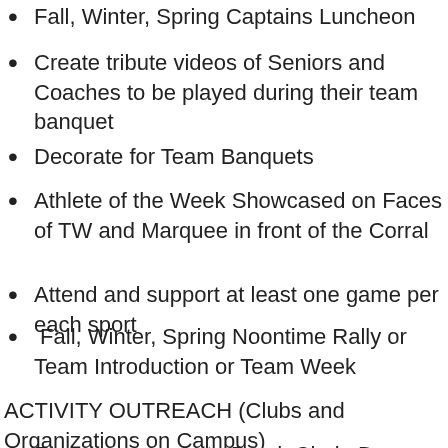Fall, Winter, Spring Captains Luncheon
Create tribute videos of Seniors and Coaches to be played during their team banquet
Decorate for Team Banquets
Athlete of the Week Showcased on Faces of TW and Marquee in front of the Corral
Attend and support at least one game per each sport
Fall, Winter, Spring Noontime Rally or Team Introduction or Team Week
ACTIVITY OUTREACH (Clubs and Organizations on Campus)
Encouragements to Band, Choir, Drama, etc. prior to